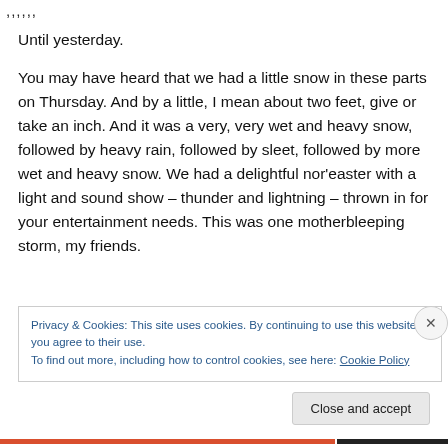,,,,,,
Until yesterday.
You may have heard that we had a little snow in these parts on Thursday. And by a little, I mean about two feet, give or take an inch. And it was a very, very wet and heavy snow, followed by heavy rain, followed by sleet, followed by more wet and heavy snow. We had a delightful nor'easter with a light and sound show – thunder and lightning – thrown in for your entertainment needs. This was one motherbleeping storm, my friends.
Privacy & Cookies: This site uses cookies. By continuing to use this website, you agree to their use.
To find out more, including how to control cookies, see here: Cookie Policy
Close and accept